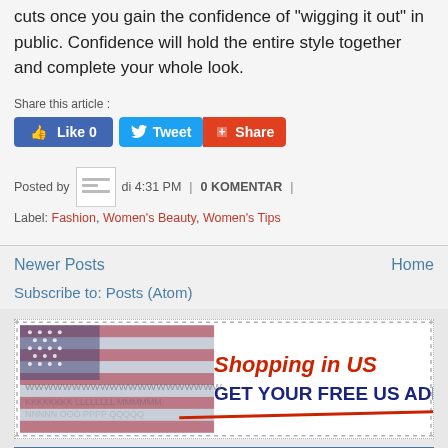cuts once you gain the confidence of “wigging it out” in public. Confidence will hold the entire style together and complete your whole look.
Share this article :
[Figure (screenshot): Social media share buttons: Facebook Like 0, Twitter Tweet, Google+ Share]
Posted by [avatar] di 4:31 PM | 0 KOMENTAR |
Label: Fashion, Women's Beauty, Women's Tips
Newer Posts
Home
Subscribe to: Posts (Atom)
[Figure (illustration): Advertisement banner: Shopping in US - GET YOUR FREE US ADDRESS, with American flag background and dotted border]
[Figure (screenshot): Bottom widget box with partial logo visible]